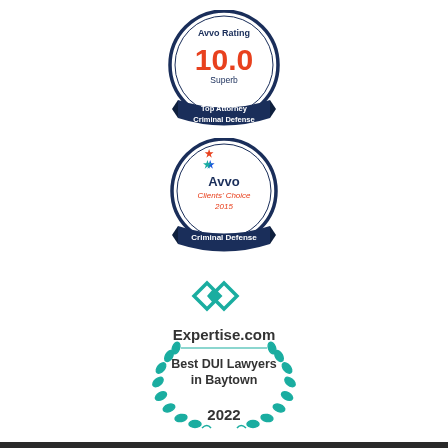[Figure (logo): Avvo Rating 10.0 Superb badge - Top Attorney Criminal Defense, circular badge with dark navy border and ribbon]
[Figure (logo): Avvo Clients Choice 2015 Criminal Defense badge - circular badge with Avvo logo and star icon, dark navy border and ribbon]
[Figure (logo): Expertise.com Best DUI Lawyers in Baytown 2022 badge - teal diamond logo with laurel wreath]